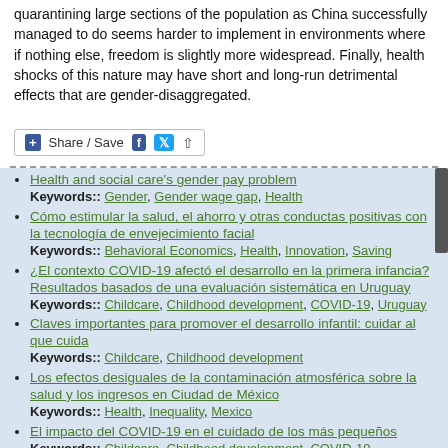quarantining large sections of the population as China successfully managed to do seems harder to implement in environments where if nothing else, freedom is slightly more widespread. Finally, health shocks of this nature may have short and long-run detrimental effects that are gender-disaggregated.
[Figure (other): Share / Save button with Facebook, Twitter, and share icons]
Health and social care's gender pay problem
Keywords:: Gender, Gender wage gap, Health
Cómo estimular la salud, el ahorro y otras conductas positivas con la tecnología de envejecimiento facial
Keywords:: Behavioral Economics, Health, Innovation, Saving
¿El contexto COVID-19 afectó el desarrollo en la primera infancia? Resultados basados de una evaluación sistemática en Uruguay
Keywords:: Childcare, Childhood development, COVID-19, Uruguay
Claves importantes para promover el desarrollo infantil: cuidar al que cuida
Keywords:: Childcare, Childhood development
Los efectos desiguales de la contaminación atmosférica sobre la salud y los ingresos en Ciudad de México
Keywords:: Health, Inequality, Mexico
El impacto del COVID-19 en el cuidado de los más pequeños
Keywords:: Childcare, Childhood development, COVID-19
¿Por qué la COVID-19 afecta a algunas ciudades más que a otras?
Keywords:: COVID-19, Economic crisis, Health
El baby boom de la paz: Evidencia del acuerdo de paz entre el gobierno colombiano y las FARC
Keywords:: Childcare, Colombia, Conflict and violence, Government